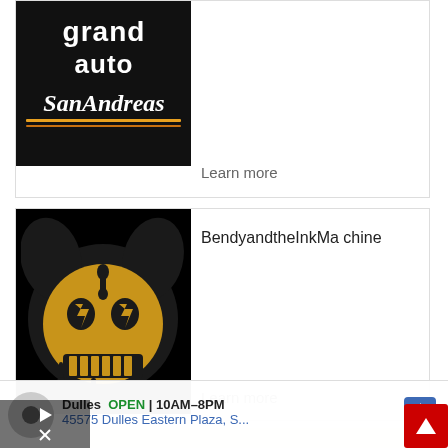[Figure (screenshot): GTA San Andreas logo on black background, partially visible at top]
Learn more
[Figure (screenshot): Bendy and the Ink Machine circular logo character on black background]
BendyandtheInkMachine
Learn more
[Figure (screenshot): Small Roblox game thumbnail image]
[Figure (screenshot): Close (X) button in dark color]
Dulles  OPEN | 10AM–8PM
45575 Dulles Eastern Plaza, S...